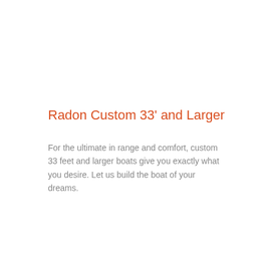Radon Custom 33' and Larger
For the ultimate in range and comfort, custom 33 feet and larger boats give you exactly what you desire.  Let us build the boat of your dreams.